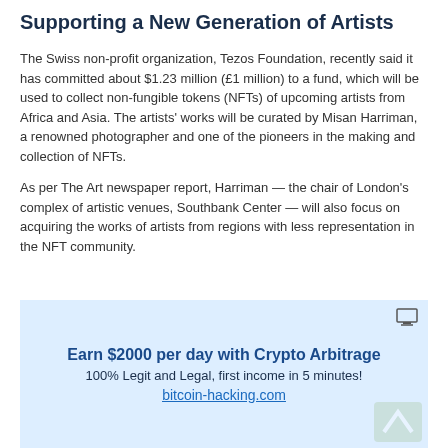Supporting a New Generation of Artists
The Swiss non-profit organization, Tezos Foundation, recently said it has committed about $1.23 million (£1 million) to a fund, which will be used to collect non-fungible tokens (NFTs) of upcoming artists from Africa and Asia. The artists' works will be curated by Misan Harriman, a renowned photographer and one of the pioneers in the making and collection of NFTs.
As per The Art newspaper report, Harriman — the chair of London's complex of artistic venues, Southbank Center — will also focus on acquiring the works of artists from regions with less representation in the NFT community.
[Figure (infographic): Advertisement banner with light blue background. Headline: 'Earn $2000 per day with Crypto Arbitrage'. Subtext: '100% Legit and Legal, first income in 5 minutes!'. Link: 'bitcoin-hacking.com'. Small monitor icon top right. Small upward arrow graphic bottom right.]